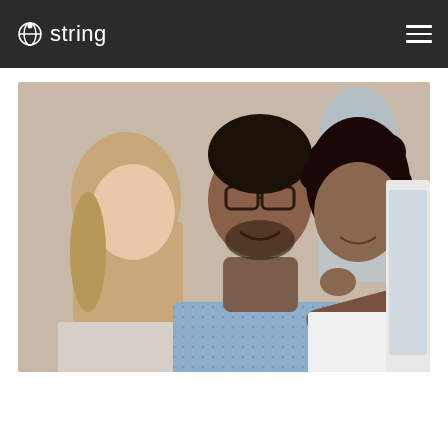string
[Figure (photo): Three smiling people — a woman with blonde hair, a man with glasses in a blue patterned shirt pointing at a screen, and a woman with curly hair in white — gathered around a computer monitor in an office or classroom setting.]